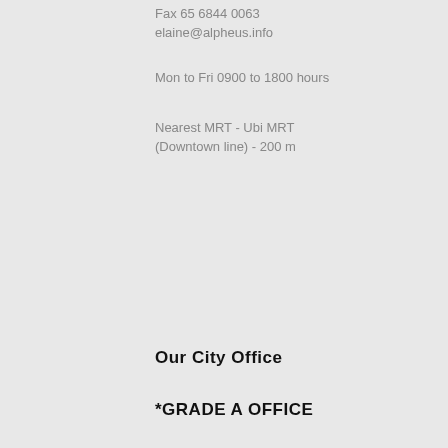Fax 65 6844 0063
elaine@alpheus.info
Mon to Fri 0900 to 1800 hours
Nearest MRT - Ubi MRT (Downtown line) - 200 m
Our  City Office
*GRADE A OFFICE